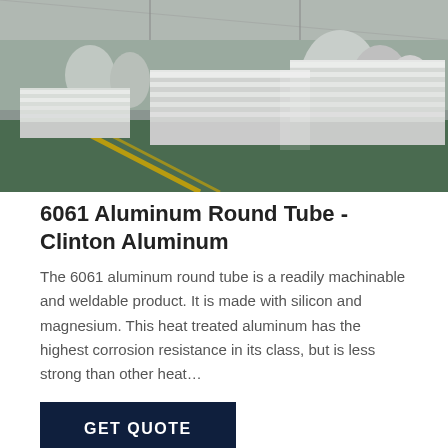[Figure (photo): Industrial warehouse interior showing stacked aluminum sheets and coils on a green factory floor with yellow lane markings]
6061 Aluminum Round Tube - Clinton Aluminum
The 6061 aluminum round tube is a readily machinable and weldable product. It is made with silicon and magnesium. This heat treated aluminum has the highest corrosion resistance in its class, but is less strong than other heat…
GET QUOTE